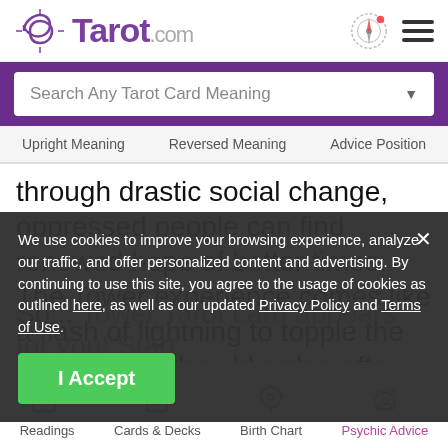[Figure (logo): Tarot.com logo with double crescent moon icon and site name]
Search Any Tarot Card Meaning
Upright Meaning   Reversed Meaning   Advice Position
through drastic social change, oppressed people can find renewed hope of better times. The Tower experience comes like a flash of lightning to topple the hierarchy of the old order, after which reconstruction is undertaken on a more equal footing.
We use cookies to improve your browsing experience, analyze our traffic, and offer personalized content and advertising. By continuing to use this site, you agree to the usage of cookies as outlined here, as well as our updated Privacy Policy and Terms of Use.
I Accept
So... Tower Tarot card appears for you! Start
[Figure (illustration): Bottom navigation icons: Readings (scroll), Cards & Decks (card), Birth Chart (sun wheel), Psychic Advice (crystal ball)]